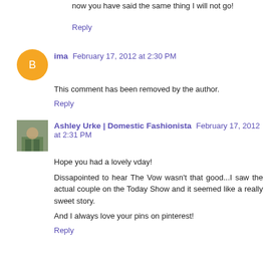now you have said the same thing I will not go!
Reply
ima February 17, 2012 at 2:30 PM
This comment has been removed by the author.
Reply
Ashley Urke | Domestic Fashionista February 17, 2012 at 2:31 PM
Hope you had a lovely vday!
Dissapointed to hear The Vow wasn't that good...I saw the actual couple on the Today Show and it seemed like a really sweet story.
And I always love your pins on pinterest!
Reply